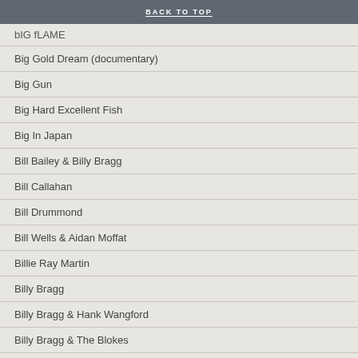BACK TO TOP
bIG fLAME
Big Gold Dream (documentary)
Big Gun
Big Hard Excellent Fish
Big In Japan
Bill Bailey & Billy Bragg
Bill Callahan
Bill Drummond
Bill Wells & Aidan Moffat
Billie Ray Martin
Billy Bragg
Billy Bragg & Hank Wangford
Billy Bragg & The Blokes